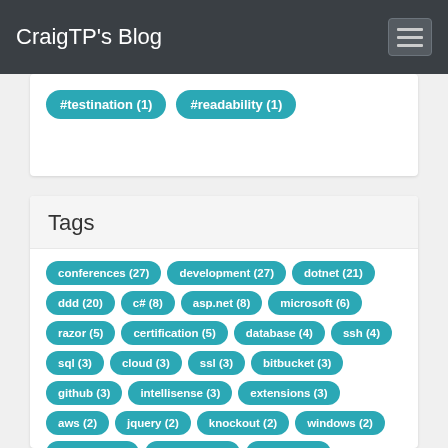CraigTP's Blog
#testination (1) #readability (1)
Tags
conferences (27)
development (27)
dotnet (21)
ddd (20)
c# (8)
asp.net (8)
microsoft (6)
razor (5)
certification (5)
database (4)
ssh (4)
sql (3)
cloud (3)
ssl (3)
bitbucket (3)
github (3)
intellisense (3)
extensions (3)
aws (2)
jquery (2)
knockout (2)
windows (2)
mercurial (2)
javascript (2)
powerbi (1)
analytics (1)
staticanalysis (1)
software (1)
review (1)
visualstudio (1)
analysis (1)
codeclones (1)
entityframework (1)
mysql (1)
automapper (1)
upgrade (1)
binding (1)
select (1)
validation (1)
putty (1)
hosts (1)
ci (1)
git (1)
nuget (1)
files (1)